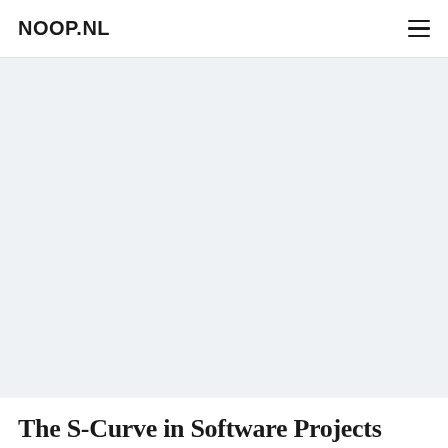NOOP.NL
[Figure (other): Large light blue-grey hero image area, blank/placeholder content region below the site header]
The S-Curve in Software Projects